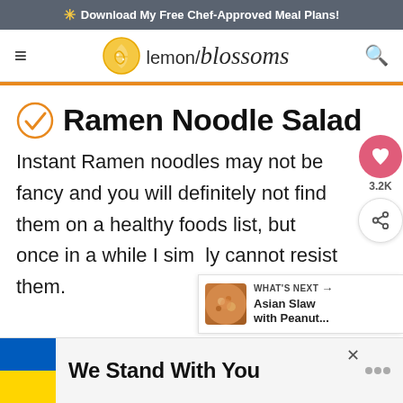* Download My Free Chef-Approved Meal Plans!
[Figure (logo): Lemon Blossoms website logo with lemon icon and stylized text]
Ramen Noodle Salad
Instant Ramen noodles may not be fancy and you will definitely not find them on a healthy foods list, but once in a while I simply cannot resist them.
[Figure (infographic): What's Next widget showing Asian Slaw with Peanut...]
[Figure (infographic): Advertisement banner: We Stand With You with Ukrainian flag colors]